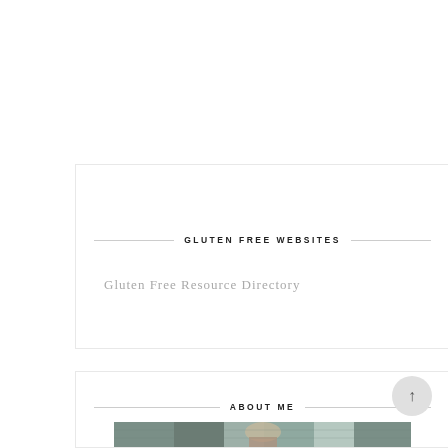GLUTEN FREE WEBSITES
Gluten Free Resource Directory
ABOUT ME
[Figure (photo): A photo of a person, partially visible at the bottom of the page, with a rustic/wooden background in muted teal and brown tones.]